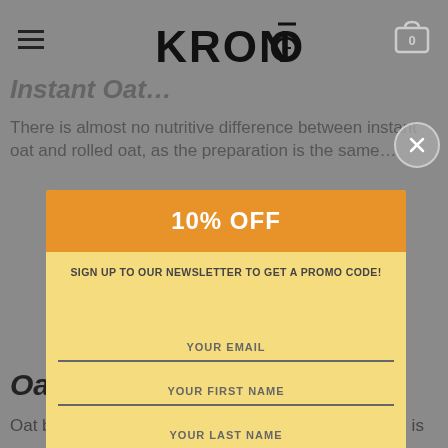KRONŌ
Instant Oat…
There is almost no nutritive difference between instant oat and rolled oat, as the preparation is the same…
[Figure (screenshot): Newsletter signup modal popup with yellow/orange background. Shows '10% OFF' header button in orange, text 'SIGN UP TO OUR NEWSLETTER TO GET A PROMO CODE!', three input fields (YOUR EMAIL, YOUR FIRST NAME, YOUR LAST NAME), and a SUBSCRIBE! button in orange. A close button (X) appears in top right.]
Oat Bran
Oat bran is obtained while making oat flour. Oat bran is